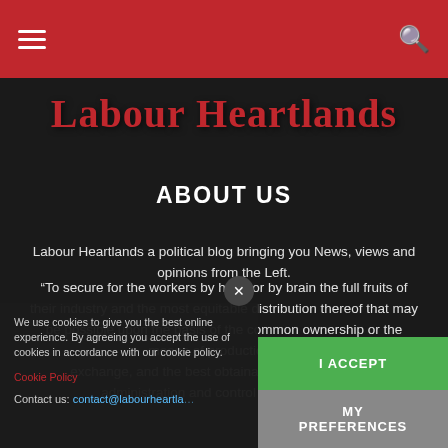Labour Heartlands [navigation header with hamburger menu and search icon]
Labour Heartlands
ABOUT US
Labour Heartlands a political blog bringing you News, views and opinions from the Left.
“To secure for the workers by hand or by brain the full fruits of their industry and the most equitable distribution thereof that may be possible upon the basis of the common ownership or the means of production, distribution, exchange, and the best obtainable system of popular administration and control of each indu…
We use cookies to give you the best online experience. By agreeing you accept the use of cookies in accordance with our cookie policy.
Cookie Policy
Contact us: contact@labourheartla…
I ACCEPT
MY PREFERENCES